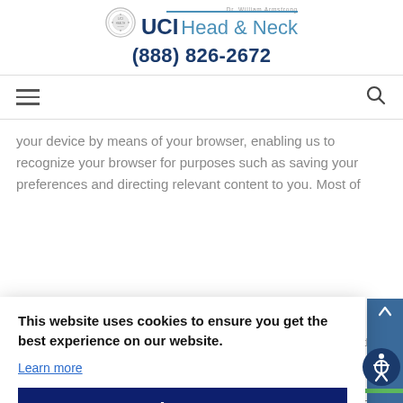[Figure (logo): UCI Head & Neck logo with circular seal and text, Dr. William Armstrong]
(888) 826-2672
[Figure (screenshot): Navigation bar with hamburger menu icon and search icon]
your device by means of your browser, enabling us to recognize your browser for purposes such as saving your preferences and directing relevant content to you. Most of
This website uses cookies to ensure you get the best experience on our website.
Learn more
Accept